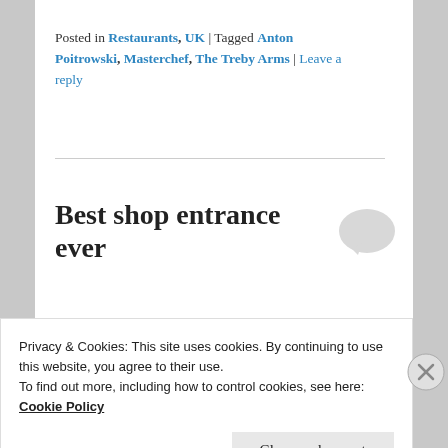Posted in Restaurants, UK | Tagged Anton Poitrowski, Masterchef, The Treby Arms | Leave a reply
Best shop entrance ever
Posted on May 25, 2016
Privacy & Cookies: This site uses cookies. By continuing to use this website, you agree to their use.
To find out more, including how to control cookies, see here:
Cookie Policy
Close and accept